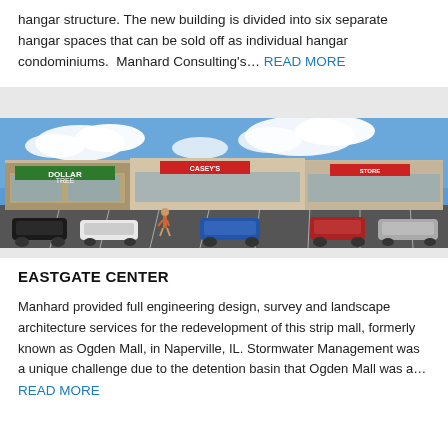hangar structure. The new building is divided into six separate hangar spaces that can be sold off as individual hangar condominiums.  Manhard Consulting's… READ MORE
[Figure (illustration): Rendering of Eastgate Center strip mall showing retail storefronts including Dollar Tree and other stores with a large parking lot in the foreground, blue sky and clouds in the background.]
EASTGATE CENTER
Manhard provided full engineering design, survey and landscape architecture services for the redevelopment of this strip mall, formerly known as Ogden Mall, in Naperville, IL. Stormwater Management was a unique challenge due to the detention basin that Ogden Mall was a… READ MORE